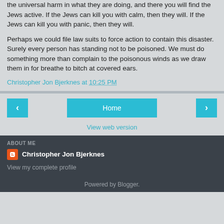the universal harm in what they are doing, and there you will find the Jews active. If the Jews can kill you with calm, then they will. If the Jews can kill you with panic, then they will.
Perhaps we could file law suits to force action to contain this disaster. Surely every person has standing not to be poisoned. We must do something more than complain to the poisonous winds as we draw them in for breathe to bitch at covered ears.
Christopher Jon Bjerknes at 10:25 PM
‹  Home  ›  View web version
ABOUT ME
Christopher Jon Bjerknes
View my complete profile
Powered by Blogger.